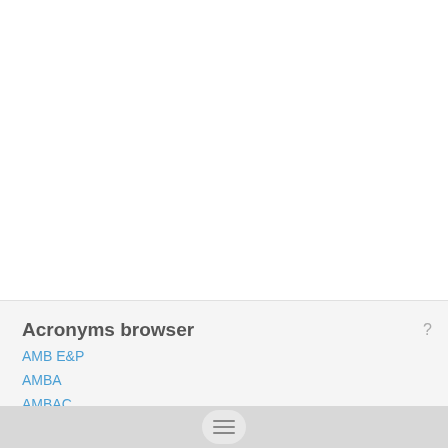Acronyms browser
AMB E&P
AMBA
AMBAC